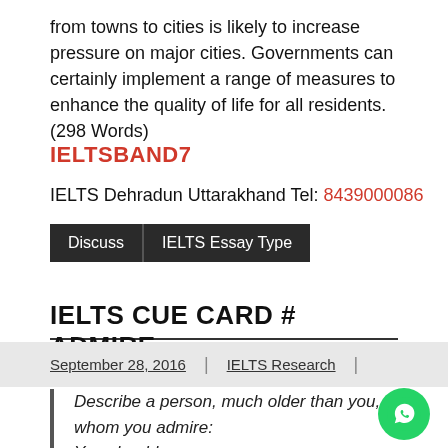from towns to cities is likely to increase pressure on major cities. Governments can certainly implement a range of measures to enhance the quality of life for all residents. (298 Words)
IELTSBAND7
IELTS Dehradun Uttarakhand Tel: 8439000086
Discuss | IELTS Essay Type
IELTS CUE CARD # ADMIRE
September 28, 2016 | IELTS Research |
Describe a person, much older than you, whom you admire: You should say –